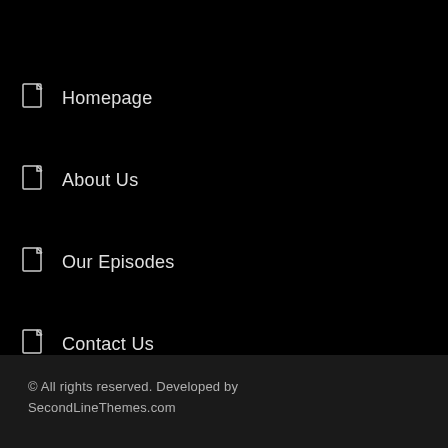Homepage
About Us
Our Episodes
Contact Us
© All rights reserved. Developed by SecondLineThemes.com